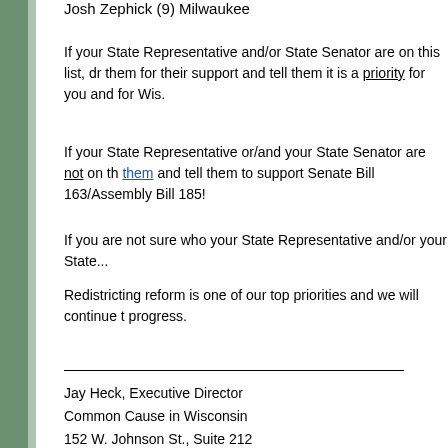Josh Zephick (9) Milwaukee
If your State Representative and/or State Senator are on this list, dr them for their support and tell them it is a priority for you and for Wis.
If your State Representative or/and your State Senator are not on th them and tell them to support Senate Bill 163/Assembly Bill 185!
If you are not sure who your State Representative and/or your State...
Redistricting reform is one of our top priorities and we will continue t progress.
Jay Heck, Executive Director
Common Cause in Wisconsin
152 W. Johnson St., Suite 212
Madison, WI 53703

608/256-2686